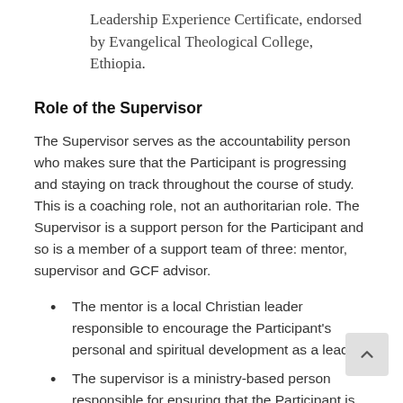Leadership Experience Certificate, endorsed by Evangelical Theological College, Ethiopia.
Role of the Supervisor
The Supervisor serves as the accountability person who makes sure that the Participant is progressing and staying on track throughout the course of study. This is a coaching role, not an authoritarian role. The Supervisor is a support person for the Participant and so is a member of a support team of three: mentor, supervisor and GCF advisor.
The mentor is a local Christian leader responsible to encourage the Participant's personal and spiritual development as a leader
The supervisor is a ministry-based person responsible for ensuring that the Participant is